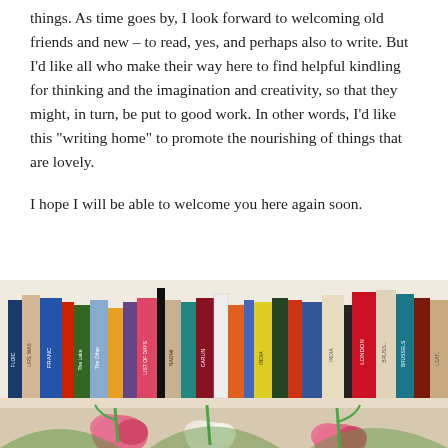things. As time goes by, I look forward to welcoming old friends and new – to read, yes, and perhaps also to write. But I’d like all who make their way here to find helpful kindling for thinking and the imagination and creativity, so that they might, in turn, be put to good work. In other words, I’d like this “writing home” to promote the nourishing of things that are lovely.
I hope I will be able to welcome you here again soon.
[Figure (photo): A photograph of a bookshelf filled with many colorful books of various sizes standing upright, with pink and white tulips in the foreground at the bottom of the image.]